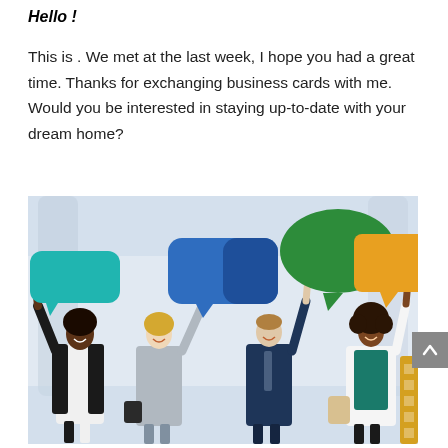Hello !
This is . We met at the last week, I hope you had a great time. Thanks for exchanging business cards with me. Would you be interested in staying up-to-date with your dream home?
[Figure (photo): Four business professionals standing and holding colorful speech bubble signs (teal, blue, green, orange) above their heads in a bright modern space.]